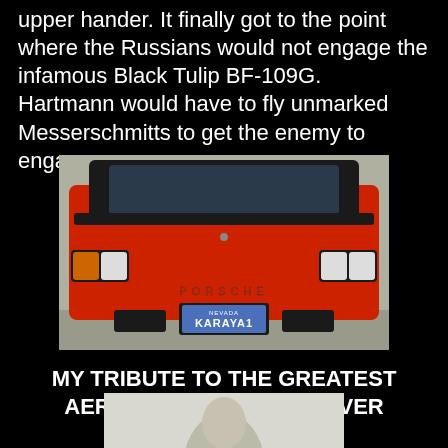upper hander. It finally got to the point where the Russians would not engage the infamous Black Tulip BF-109G.  Hartmann would have to fly unmarked Messerschmitts to get the enemy to engage.
[Figure (photo): Rear view of a red Porsche sports car with Nevada license plate reading KARAYA1]
MY TRIBUTE TO THE GREATEST AERIAL COMBAT PILOT EVER
[Figure (photo): Partial black and white portrait photo visible at bottom of page]